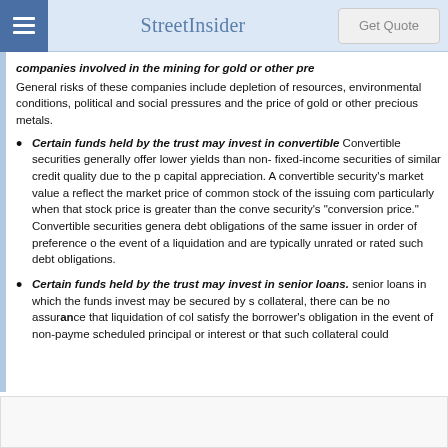StreetInsider | Get Quote
companies involved in the mining for gold or other precious metals. General risks of these companies include depletion of resources, environmental conditions, political and social pressures and the price of gold or other precious metals.
Certain funds held by the trust may invest in convertible securities. Convertible securities generally offer lower yields than non-convertible fixed-income securities of similar credit quality due to the potential for capital appreciation. A convertible security's market value also tends to reflect the market price of common stock of the issuing company, particularly when that stock price is greater than the convertible security's "conversion price." Convertible securities generally rank debt obligations of the same issuer in order of preference of payment in the event of a liquidation and are typically unrated or rated lower than such debt obligations.
Certain funds held by the trust may invest in senior loans. The senior loans in which the funds invest may be secured by specific collateral, there can be no assurance that liquidation of collateral will satisfy the borrower's obligation in the event of non-payment of scheduled principal or interest or that such collateral could...